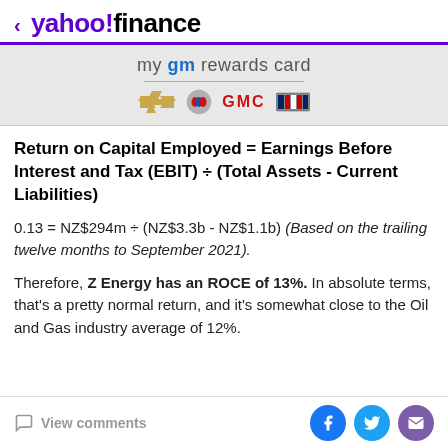< yahoo!finance
[Figure (other): GM Rewards Card advertisement banner with Chevrolet, Buick, GMC, and Cadillac logos]
Return on Capital Employed = Earnings Before Interest and Tax (EBIT) ÷ (Total Assets - Current Liabilities)
0.13 = NZ$294m ÷ (NZ$3.3b - NZ$1.1b) (Based on the trailing twelve months to September 2021).
Therefore, Z Energy has an ROCE of 13%. In absolute terms, that's a pretty normal return, and it's somewhat close to the Oil and Gas industry average of 12%.
View comments